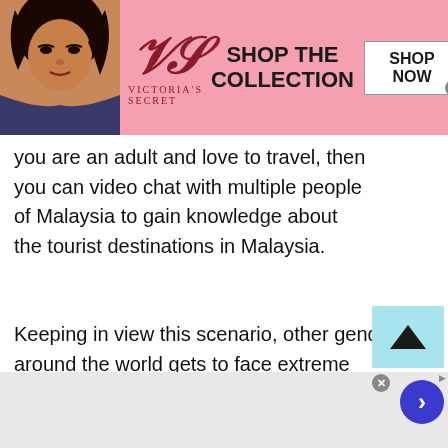[Figure (photo): Victoria's Secret advertisement banner with model, VS logo, 'SHOP THE COLLECTION' text, and 'SHOP NOW' button on pink background]
you are an adult and love to travel, then you can video chat with multiple people of Malaysia to gain knowledge about the tourist destinations in Malaysia.
Keeping in view this scenario, other genders all around the world gets to face extreme discrimination, mental and physical abuse by the locals. People regard gay or lesbian couple as a disgrace to the society. This is one of the reasons
[Figure (screenshot): Wayfair.com online advertisement banner: 'Wayfair.com - Online Home Store Sale! Shop for A Zillion Things Home across all styles at Wayfair! www.wayfair.com']